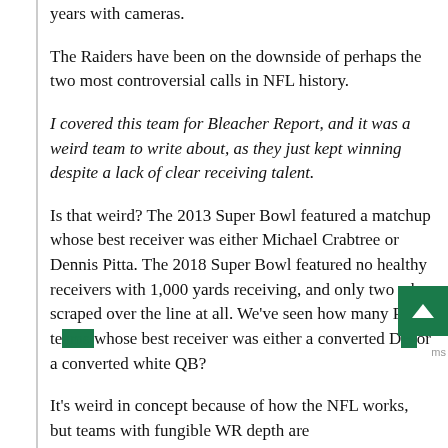years with cameras.
The Raiders have been on the downside of perhaps the two most controversial calls in NFL history.
I covered this team for Bleacher Report, and it was a weird team to write about, as they just kept winning despite a lack of clear receiving talent.
Is that weird? The 2013 Super Bowl featured a matchup whose best receiver was either Michael Crabtree or Dennis Pitta. The 2018 Super Bowl featured no healthy receivers with 1,000 yards receiving, and only two who scraped over the line at all. We've seen how many Pats teams whose best receiver was either a converted DB or a converted white QB?
It's weird in concept because of how the NFL works, but teams with fungible WR depth are